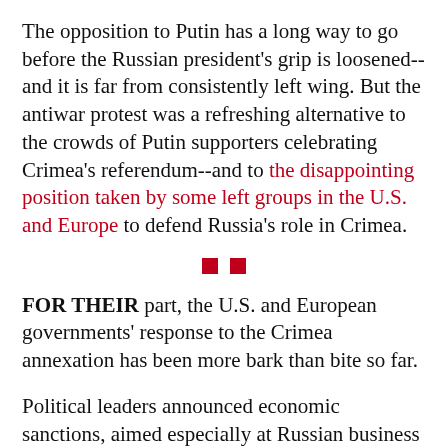The opposition to Putin has a long way to go before the Russian president's grip is loosened--and it is far from consistently left wing. But the antiwar protest was a refreshing alternative to the crowds of Putin supporters celebrating Crimea's referendum--and to the disappointing position taken by some left groups in the U.S. and Europe to defend Russia's role in Crimea.
[Figure (other): Two small red squares used as a section divider]
FOR THEIR part, the U.S. and European governments' response to the Crimea annexation has been more bark than bite so far.
Political leaders announced economic sanctions, aimed especially at Russian business figures and firms with interests in Ukraine. But the scope of the sanctions are limited because of the EU's dependence on natural gas from Russia--in some EU countries